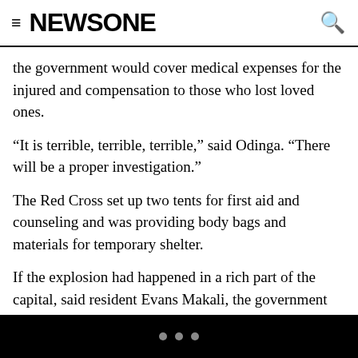NEWSONE
the government would cover medical expenses for the injured and compensation to those who lost loved ones.
“It is terrible, terrible, terrible,” said Odinga. “There will be a proper investigation.”
The Red Cross set up two tents for first aid and counseling and was providing body bags and materials for temporary shelter.
If the explosion had happened in a rich part of the capital, said resident Evans Makali, the government would be sued. But since it happened to poor people, nothing would change, he said. Activists say Kenya’s